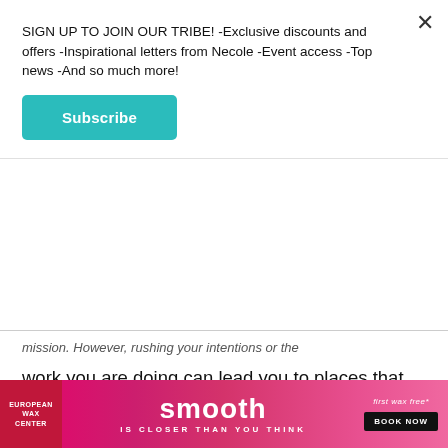SIGN UP TO JOIN OUR TRIBE! -Exclusive discounts and offers -Inspirational letters from Necole -Event access -Top news -And so much more!
Subscribe
mission. However, rushing your intentions or the work you are doing can lead you to places that don't serve, and having patience with yourself and others while handling business this month is key. Use your intuition wisely, trust your instincts, and get creative.
KEEP READING...
[Figure (infographic): European Wax Center advertisement banner: pink/magenta gradient background, EWC logo on left, 'smooth IS CLOSER THAN YOU THINK' text in center, 'FIRST WAX FREE* BOOK NOW' button on right]